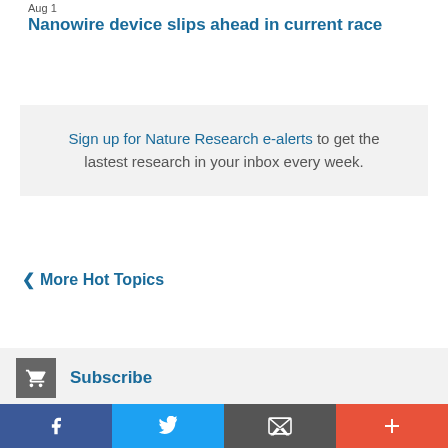Aug 1
Nanowire device slips ahead in current race
Sign up for Nature Research e-alerts to get the lastest research in your inbox every week.
More Hot Topics
Subscribe
Subscribe to the world's leading scientific publications
E-alert signup
Facebook | Twitter | Email | Plus